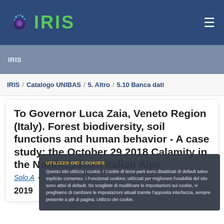IRIS
IRIS
IRIS / Catalogo UNIBAS / 5. Altro / 5.10 Banca dati
To Governor Luca Zaia, Veneto Region (Italy). Forest biodiversity, soil functions and human behavior - A case study: the October 29 2018 Calamity in the North-Eastern Italian Alps
Solo A
2019
UTILIZZO DEI COOKIES
Questo sito utilizza i cookie. I Cookie di terze parti sono disattivati di default salvo esplicito consenso. I Functional cookies: utilizzati per migliorare l'usabilità del sito sono attivi di default. Se scegliete di modificare le impostazioni sui cookie, vi preghiamo di cambiare le impostazioni attuali tramite l'apposita interfaccia, sempre presente a piè di pagina: Utilizzo dei cookie.